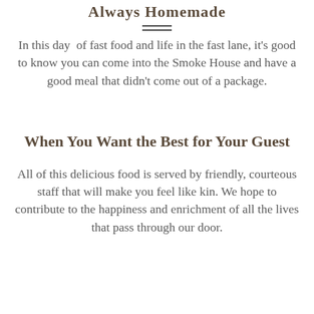Always Homemade
In this day of fast food and life in the fast lane, it's good to know you can come into the Smoke House and have a good meal that didn't come out of a package.
When You Want the Best for Your Guest
All of this delicious food is served by friendly, courteous staff that will make you feel like kin. We hope to contribute to the happiness and enrichment of all the lives that pass through our door.